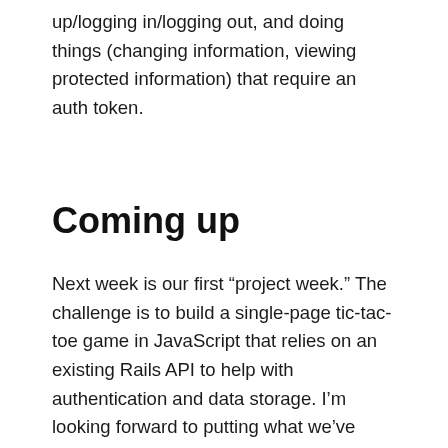up/logging in/logging out, and doing things (changing information, viewing protected information) that require an auth token.
Coming up
Next week is our first “project week.” The challenge is to build a single-page tic-tac-toe game in JavaScript that relies on an existing Rails API to help with authentication and data storage. I’m looking forward to putting what we’ve learned over the last two weeks together into something usable, rather than a series of code snippets that aren’t connected. I feel like I have a good pile of building blocks now, and I’m excited to start using